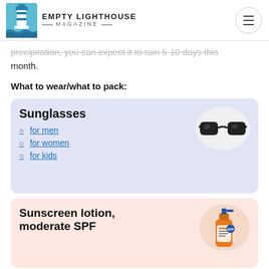EMPTY LIGHTHOUSE MAGAZINE
precipitation, you can expect it to rain 5-10 days this month.
What to wear/what to pack:
[Figure (illustration): Product card with sunglasses image and links for men, women, kids]
[Figure (illustration): Product card with sunscreen lotion bottle image, moderate SPF]